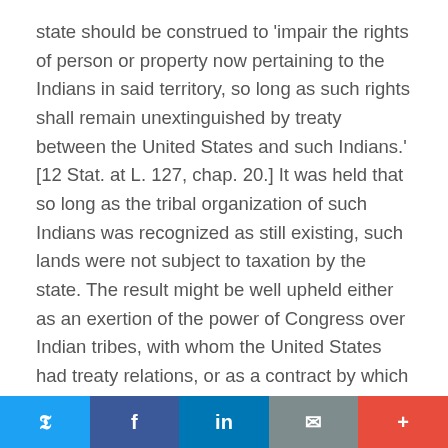state should be construed to 'impair the rights of person or property now pertaining to the Indians in said territory, so long as such rights shall remain unextinguished by treaty between the United States and such Indians.' [12 Stat. at L. 127, chap. 20.] It was held that so long as the tribal organization of such Indians was recognized as still existing, such lands were not subject to taxation by the state. The result might be well upheld either as an exertion of the power of Congress over Indian tribes, with whom the United States had treaty relations, or as a contract by which the state had agreed to forego taxation of Indian lands,-a contract quite [221 U.S. 559, 579]   within the power of a state to make, whether made with the United States for the benefit of its Indian wards, or with a private corporation for the supposed advantages resulting. Certainly the case has no bearing upon a compact by which the general legislative power of
Twitter | Facebook | LinkedIn | Email | More